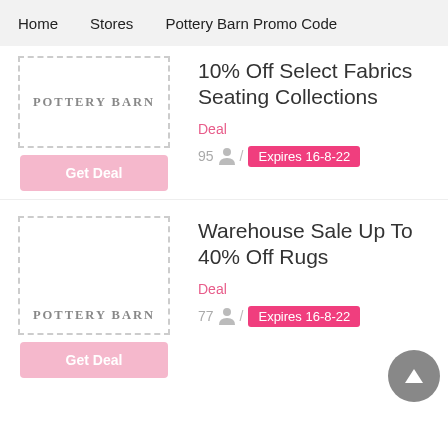Home   Stores   Pottery Barn Promo Code
[Figure (logo): Pottery Barn logo in dashed border box]
10% Off Select Fabrics Seating Collections
Deal
95 / Expires 16-8-22
[Figure (logo): Pottery Barn logo in dashed border box]
Warehouse Sale Up To 40% Off Rugs
Deal
77 / Expires 16-8-22